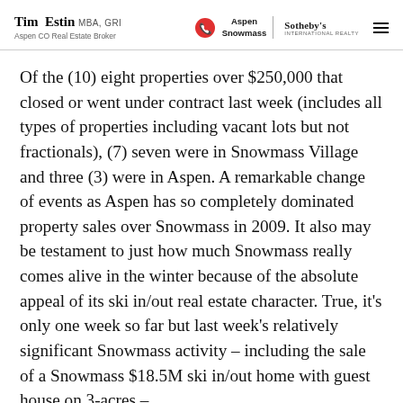Tim Estin MBA, GRI | Aspen CO Real Estate Broker | Aspen Snowmass | Sotheby's International Realty
Of the (10) eight properties over $250,000 that closed or went under contract last week (includes all types of properties including vacant lots but not fractionals), (7) seven were in Snowmass Village and three (3) were in Aspen. A remarkable change of events as Aspen has so completely dominated property sales over Snowmass in 2009. It also may be testament to just how much Snowmass really comes alive in the winter because of the absolute appeal of its ski in/out real estate character. True, it's only one week so far but last week's relatively significant Snowmass activity – including the sale of a Snowmass $18.5M ski in/out home with guest house on 3-acres –